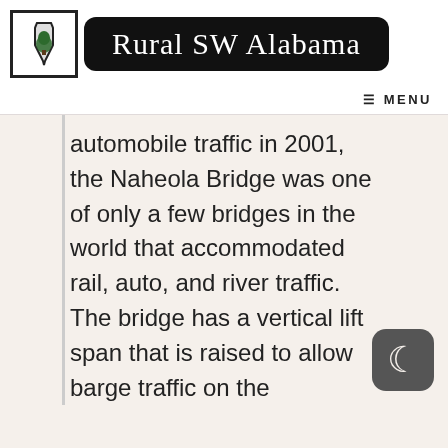[Figure (logo): Rural SW Alabama website logo: Alabama state outline icon in a black-bordered box, next to a black rounded rectangle with cursive white text 'Rural SW Alabama']
≡ MENU
automobile traffic in 2001, the Naheola Bridge was one of only a few bridges in the world that accommodated rail, auto, and river traffic. The bridge has a vertical lift span that is raised to allow barge traffic on the